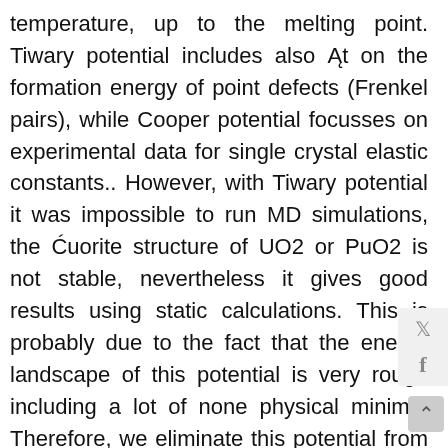temperature, up to the melting point. Tiwary potential includes also Ąt on the formation energy of point defects (Frenkel pairs), while Cooper potential focusses on experimental data for single crystal elastic constants.. However, with Tiwary potential it was impossible to run MD simulations, the Ćuorite structure of UO2 or PuO2 is not stable, nevertheless it gives good results using static calculations. This is probably due to the fact that the energy landscape of this potential is very rough including a lot of none physical minima. Therefore, we eliminate this potential from our study. As we can see, the potentials were Ątted on dife parameters. The results that each potential is ab reproduce depend strongly on what they were Ątte All potentials try to simulate the best, the re...